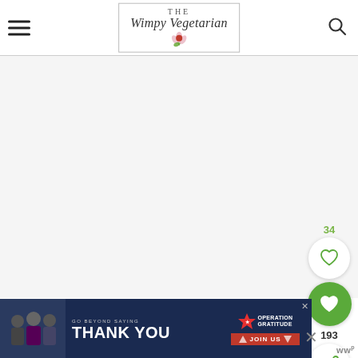THE Wimpy Vegetarian — navigation header with hamburger menu, logo, and search icon
[Figure (screenshot): Large blank/white content area below the header — main page body area with light gray background]
[Figure (infographic): Sidebar UI with like count 34, white heart circle button, green filled heart circle button, count 193, share button circle, and dots menu]
[Figure (photo): Advertisement banner: GO BEYOND SAYING THANK YOU — Operation Gratitude JOIN US, with photo of people on left, dark navy background, red JOIN US button]